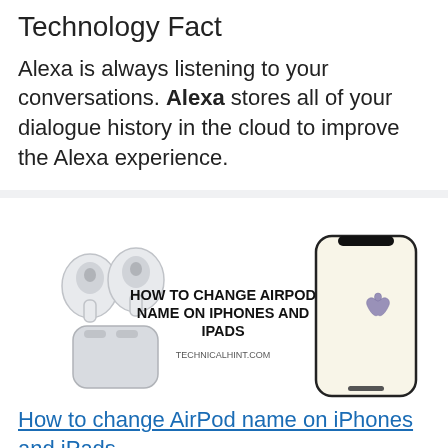Technology Fact
Alexa is always listening to your conversations. Alexa stores all of your dialogue history in the cloud to improve the Alexa experience.
[Figure (illustration): Promotional image for an article about changing AirPod names on iPhones and iPads. Shows AirPods with case on the left, bold text in the center reading 'HOW TO CHANGE AIRPOD NAME ON IPHONES AND IPADS' with 'TECHNICALHINT.COM' below, and an iPhone with Apple logo on the right.]
How to change AirPod name on iPhones and iPads
[Figure (photo): Partial image of a black Apple device at the bottom of the page, cropped.]